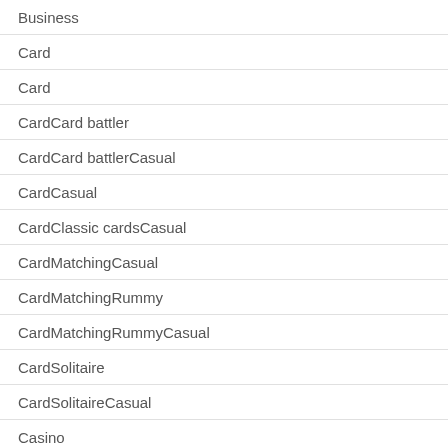Business
Card
Card
CardCard battler
CardCard battlerCasual
CardCasual
CardClassic cardsCasual
CardMatchingCasual
CardMatchingRummy
CardMatchingRummyCasual
CardSolitaire
CardSolitaireCasual
Casino